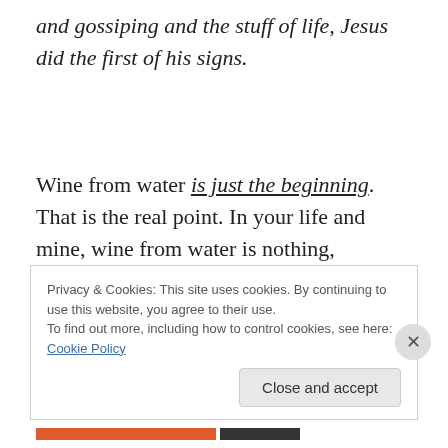and gossiping and the stuff of life, Jesus did the first of his signs.
Wine from water is just the beginning. That is the real point. In your life and mine, wine from water is nothing, compared to what our Creator can do. You are carrying miracles, if only you know it, says the Creator of singers who come to Montreal, of street people and poets, of
Privacy & Cookies: This site uses cookies. By continuing to use this website, you agree to their use.
To find out more, including how to control cookies, see here: Cookie Policy